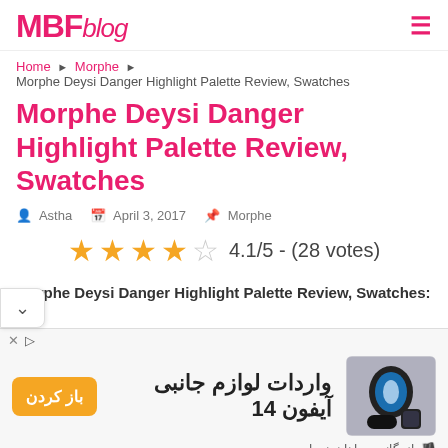MBF blog
Home › Morphe › Morphe Deysi Danger Highlight Palette Review, Swatches
Morphe Deysi Danger Highlight Palette Review, Swatches
Astha  April 3, 2017  Morphe
[Figure (infographic): Star rating: 4.1/5 - (28 votes), showing 4 filled stars and 1 empty star]
Morphe Deysi Danger Highlight Palette Review, Swatches: Hey  o this whole entire world has come to the conclusion that
[Figure (infographic): Advertisement banner in Persian for iPhone 14 accessories (واردات لوازم جانبی آیفون 14) with an orange button labeled باز کردن and product image]